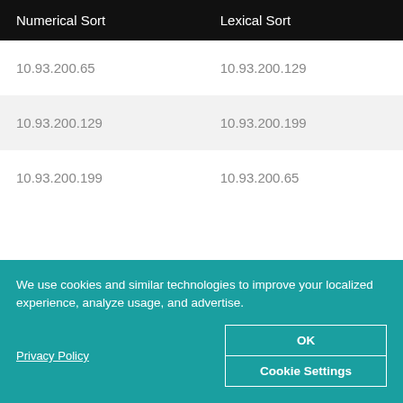| Numerical Sort | Lexical Sort |
| --- | --- |
| 10.93.200.65 | 10.93.200.129 |
| 10.93.200.129 | 10.93.200.199 |
| 10.93.200.199 | 10.93.200.65 |
We use cookies and similar technologies to improve your localized experience, analyze usage, and advertise.
Privacy Policy
OK
Cookie Settings